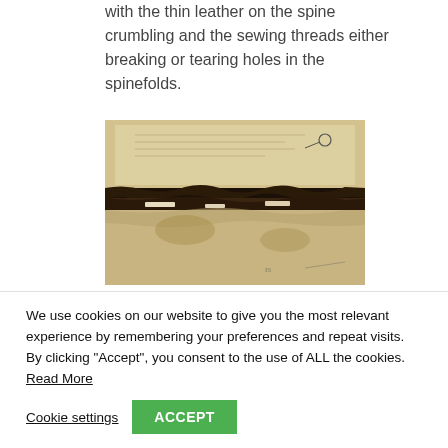with the thin leather on the spine crumbling and the sewing threads either breaking or tearing holes in the spinefolds.
[Figure (photo): Close-up photograph of a damaged old book showing crumbling leather spine and torn/deteriorated pages with visible damage along the spine fold area. The aged, yellowed pages are partially separated.]
We use cookies on our website to give you the most relevant experience by remembering your preferences and repeat visits. By clicking "Accept", you consent to the use of ALL the cookies. Read More
Cookie settings  ACCEPT